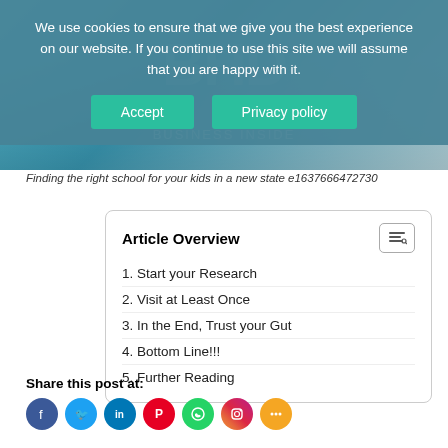[Figure (photo): Hero image showing children/students in a school setting with a teal/blue overlay and background text]
We use cookies to ensure that we give you the best experience on our website. If you continue to use this site we will assume that you are happy with it.
Finding the right school for your kids in a new state e1637666472730
Article Overview
1. Start your Research
2. Visit at Least Once
3. In the End, Trust your Gut
4. Bottom Line!!!
5. Further Reading
Share this post at: